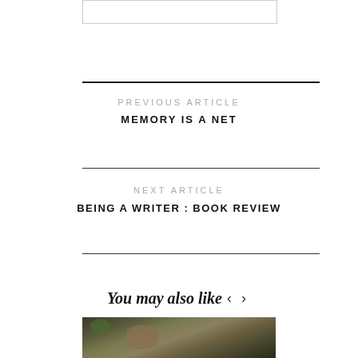PREVIOUS ARTICLE
MEMORY IS A NET
NEXT ARTICLE
BEING A WRITER : BOOK REVIEW
You may also like
[Figure (photo): Photo of a natural scene with rocks, soil and leaves — partially visible at bottom of page]